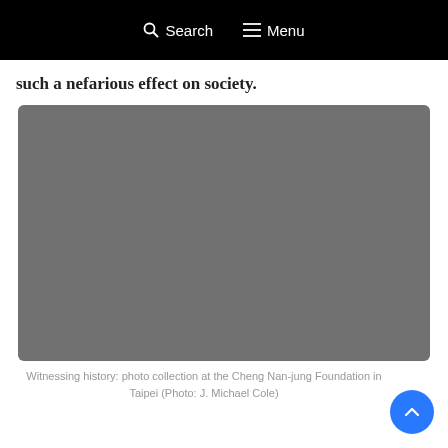Search  Menu
such a nefarious effect on society.
[Figure (photo): A gray placeholder rectangle representing a photo at the Cheng Nan-jung Foundation in Taipei]
Witnessing history: photo collection at the Cheng Nan-jung Foundation in Taipei (Photo: J. Michael Cole)